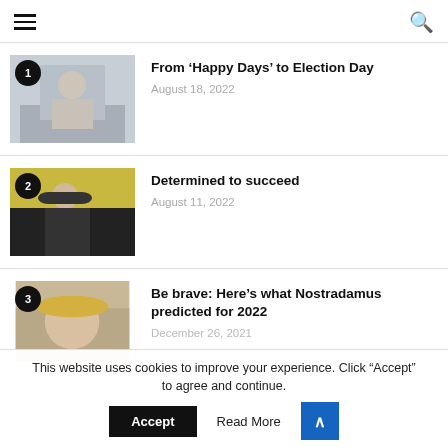Navigation menu and search icon
[Figure (photo): Person with arms crossed standing in front of a building, numbered badge 1]
From ‘Happy Days’ to Election Day
August 18, 2022
[Figure (photo): Person in graduation gown holding camera, numbered badge 2]
Determined to succeed
August 11, 2022
[Figure (photo): Elderly person wearing a hat, numbered badge 3, partially cut off]
Be brave: Here’s what Nostradamus predicted for 2022
December 26, 2021
This website uses cookies to improve your experience. Click “Accept” to agree and continue.